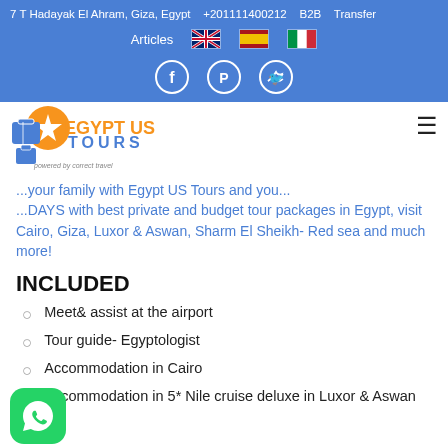7 T Hadayak El Ahram, Giza, Egypt   +201111400212   B2B   Transfer
Articles
[Figure (logo): Egypt Us Tours logo with orange star icon and text 'powered by correct travel']
...your family with Egypt US Tours and you... ...DAYS with best private and budget tour packages in Egypt, visit Cairo, Giza, Luxor & Aswan, Sharm El Sheikh- Red sea and much more!
INCLUDED
Meet& assist at the airport
Tour guide- Egyptologist
Accommodation in Cairo
Accommodation in 5* Nile cruise deluxe in Luxor & Aswan